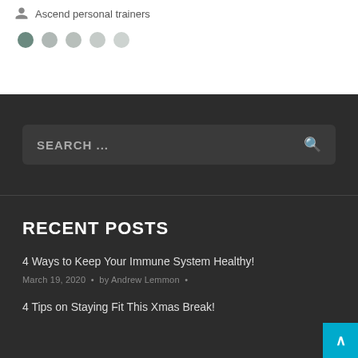Ascend personal trainers
[Figure (other): Five pagination dots, first dot darker (selected), rest lighter grey]
[Figure (screenshot): Dark background search bar with placeholder text SEARCH ... and a magnifying glass icon]
RECENT POSTS
4 Ways to Keep Your Immune System Healthy!
March 19, 2020  •  by Andrew Lemmon  •
4 Tips on Staying Fit This Xmas Break!